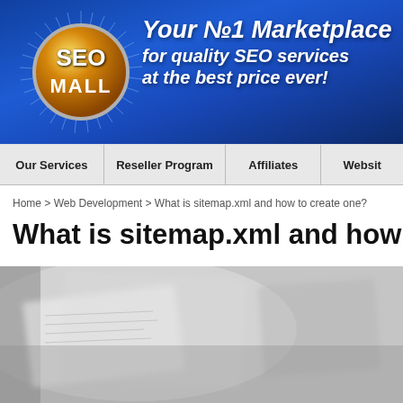[Figure (logo): SEO Mall website header banner with gold circular logo on blue background with sunburst rays. Text reads: Your No.1 Marketplace for quality SEO services at the best price ever!]
Our Services | Reseller Program | Affiliates | Website
Home > Web Development > What is sitemap.xml and how to create one?
What is sitemap.xml and how to
[Figure (photo): Blurred grayscale photograph of papers and a map or documents, partially visible at the bottom of the page]